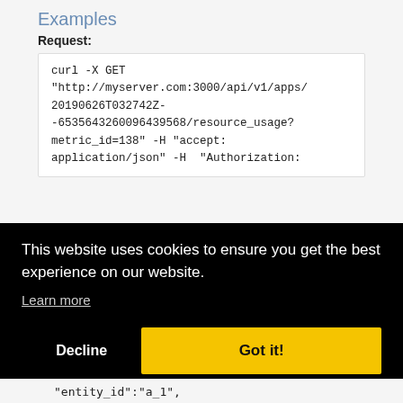Examples
Request:
curl -X GET "http://myserver.com:3000/api/v1/apps/20190626T032742Z--6535643260096439568/resource_usage?metric_id=138" -H "accept: application/json" -H  "Authorization:
[Figure (screenshot): Cookie consent overlay banner with black background containing message 'This website uses cookies to ensure you get the best experience on our website.', a 'Learn more' link, a 'Decline' button, and a yellow 'Got it!' button.]
"entity_id":"a_1",